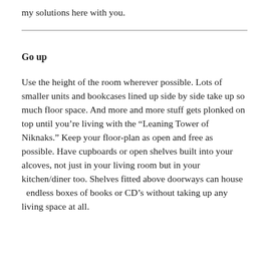my solutions here with you.
Go up
Use the height of the room wherever possible. Lots of smaller units and bookcases lined up side by side take up so much floor space. And more and more stuff gets plonked on top until you’re living with the “Leaning Tower of Niknaks.” Keep your floor-plan as open and free as possible. Have cupboards or open shelves built into your alcoves, not just in your living room but in your kitchen/diner too. Shelves fitted above doorways can house  endless boxes of books or CD’s without taking up any living space at all.